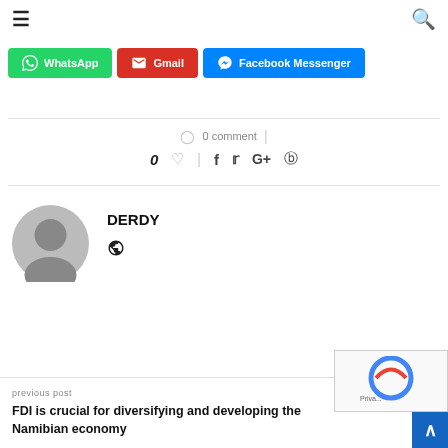≡   🔍
[Figure (infographic): Three share buttons: WhatsApp (green), Gmail (red), Facebook Messenger (blue)]
0 comment
0 ♡  |  f  𝕏  G+  ⊕
DERDY
[Figure (illustration): Generic user avatar circle (gray)]
🌐
previous post
FDI is crucial for diversifying and developing the Namibian economy